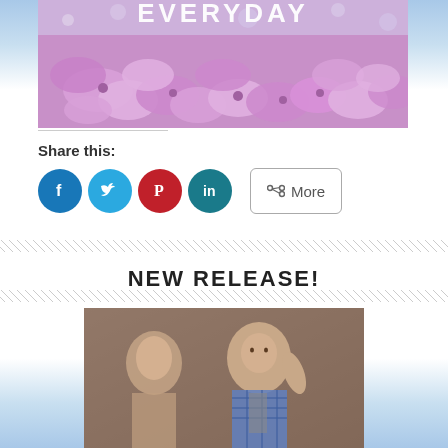[Figure (photo): Book cover showing purple/pink lilac flowers with text 'EVERYDAY' in large letters at the top]
Share this:
[Figure (infographic): Social sharing buttons: Facebook (blue circle), Twitter (light blue circle), Pinterest (red circle), LinkedIn (teal circle), and a More button with share icon]
NEW RELEASE!
[Figure (photo): Book cover showing a man in a blue plaid shirt and a woman in the foreground, appearing to be a romance novel cover]